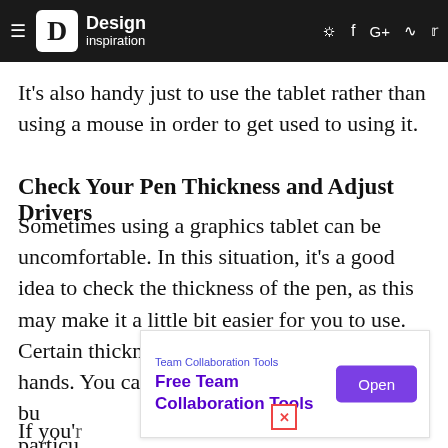Design inspiration
It's also handy just to use the tablet rather than using a mouse in order to get used to using it.
Check Your Pen Thickness and Adjust Drivers
Sometimes using a graphics tablet can be uncomfortable. In this situation, it's a good idea to check the thickness of the pen, as this may make it a little bit easier for you to use. Certain thicknesses may not work for some hands. You can bu[y pens that are designed for a] particu[lar...]
[Figure (screenshot): Advertisement overlay: Team Collaboration Tools - Free Team Collaboration Tools with Open button]
If you'[re...] can